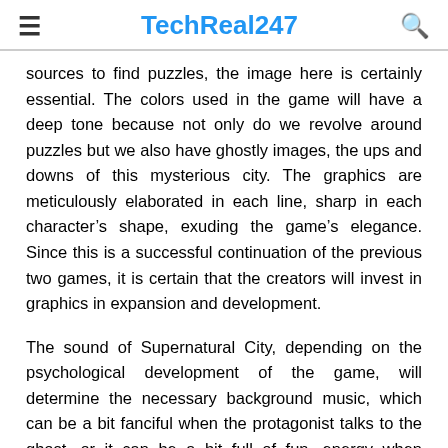TechReal247
sources to find puzzles, the image here is certainly essential. The colors used in the game will have a deep tone because not only do we revolve around puzzles but we also have ghostly images, the ups and downs of this mysterious city. The graphics are meticulously elaborated in each line, sharp in each character’s shape, exuding the game’s elegance. Since this is a successful continuation of the previous two games, it is certain that the creators will invest in graphics in expansion and development.
The sound of Supernatural City, depending on the psychological development of the game, will determine the necessary background music, which can be a bit fanciful when the protagonist talks to the ghost, or it can be a bit full of fun. energy when helping those who deserve it. However, overall, the sound should always